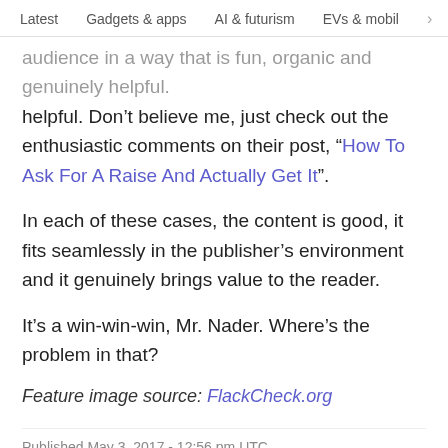Latest   Gadgets & apps   AI & futurism   EVs & mobil
audience in a way that is fun, organic and genuinely helpful. Don't believe me, just check out the enthusiastic comments on their post, “How To Ask For A Raise And Actually Get It”.
In each of these cases, the content is good, it fits seamlessly in the publisher’s environment and it genuinely brings value to the reader.
It’s a win-win-win, Mr. Nader. Where’s the problem in that?
Feature image source: FlackCheck.org
Published May 3, 2017 - 12:56 pm UTC
Back to top